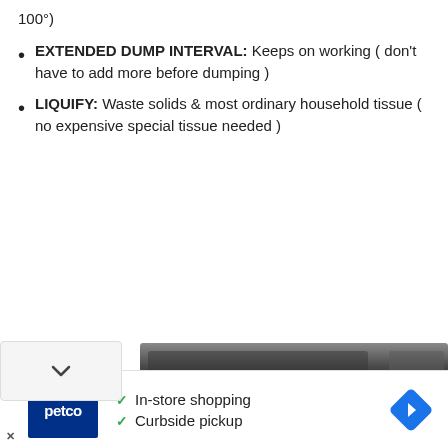100°)
EXTENDED DUMP INTERVAL: Keeps on working ( don't have to add more before dumping )
LIQUIFY: Waste solids & most ordinary household tissue ( no expensive special tissue needed )
[Figure (photo): Bottom portion showing a chevron/collapse button and a brushed metal appliance panel, partially visible]
[Figure (screenshot): Advertisement bar showing Petco logo with 'In-store shopping' and 'Curbside pickup' checkmarks, and a blue navigation diamond icon on the right]